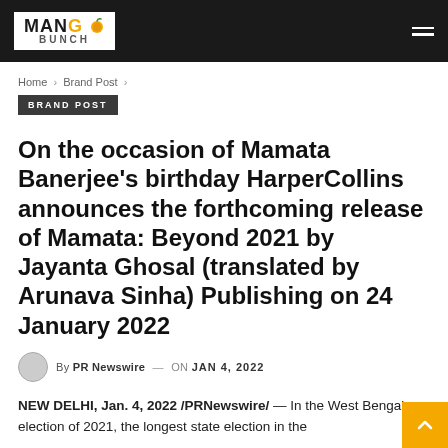MANGO BUNCH
Home > Brand Post >
BRAND POST
On the occasion of Mamata Banerjee's birthday HarperCollins announces the forthcoming release of Mamata: Beyond 2021 by Jayanta Ghosal (translated by Arunava Sinha) Publishing on 24 January 2022
By PR Newswire — ON JAN 4, 2022
NEW DELHI, Jan. 4, 2022 /PRNewswire/ — In the West Bengal election of 2021, the longest state election in the